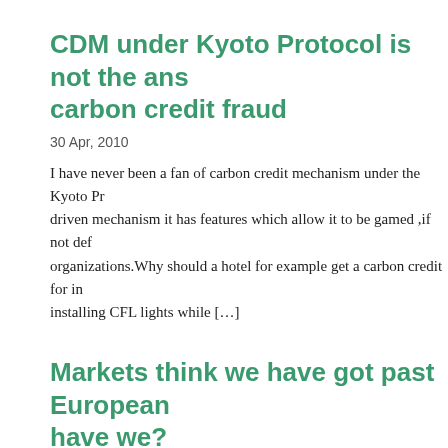CDM under Kyoto Protocol is not the answer to carbon credit fraud
30 Apr, 2010
I have never been a fan of carbon credit mechanism under the Kyoto Protocol. As a market driven mechanism it has features which allow it to be gamed ,if not defrauded by organizations.Why should a hotel for example get a carbon credit for installing CFL lights while […]
Markets think we have got past European crisis,have we?
30 Apr, 2010
Markets were back up to previous levels after a bailout package for Greece was agreed by Germans and the IMF.But the condition of southern Europe continues to be worrying as unemployment continues to be high and the health of the whole European economy is in a critical state. Spanish unemployment tops 20% […]